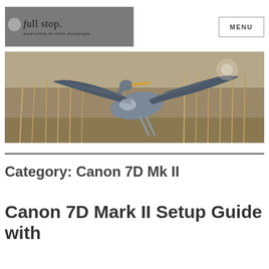full stop. good writing for better photography | MENU
[Figure (photo): A great blue heron in flight with wings spread wide, photographed against a background of dry reeds and brush in a natural wetland setting.]
Category: Canon 7D Mk II
Canon 7D Mark II Setup Guide with